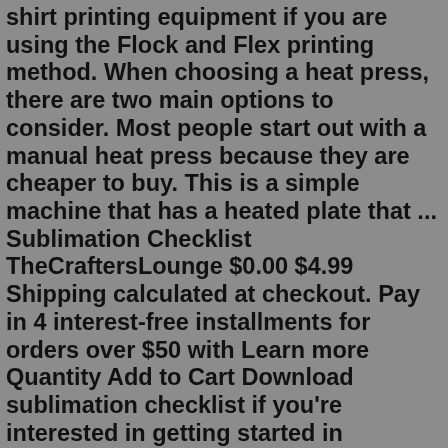shirt printing equipment if you are using the Flock and Flex printing method. When choosing a heat press, there are two main options to consider. Most people start out with a manual heat press because they are cheaper to buy. This is a simple machine that has a heated plate that ... Sublimation Checklist TheCraftersLounge $0.00 $4.99 Shipping calculated at checkout. Pay in 4 interest-free installments for orders over $50 with Learn more Quantity Add to Cart Download sublimation checklist if you're interested in getting started in Sublimation.Jun 02, 2017 · Terry: So now what should a sublimation business do with that $8.50 cost figure. We now need to use that cost to price out our products to help us reach our profit goals and to also cover your overhead costs like rent, electricity, and the cell phone. 2 pricing methods. Cost Plus and Market Value. If you cut your ink costs by 50% it would save $0.22 per shirt in production costs – hardly a make or break scenario when your real cost of production is $.50 per minute. Even if you look at the cost of the substrate ($2.50).